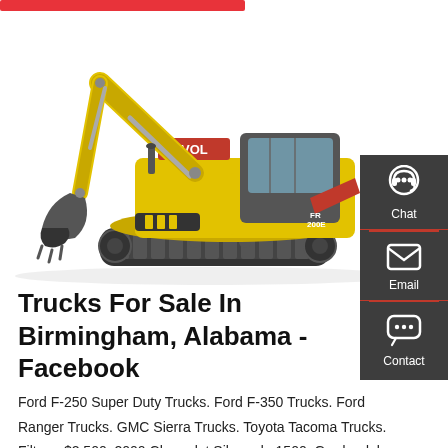[Figure (photo): Yellow LOVOL brand excavator (model FR200E) on white background, with arm extended downward and bucket at ground level]
[Figure (infographic): Dark gray side panel with three contact options: Chat (headset icon), Email (envelope icon), Contact (speech bubble icon), separated by red horizontal lines]
Trucks For Sale In Birmingham, Alabama - Facebook
Ford F-250 Super Duty Trucks. Ford F-350 Trucks. Ford Ranger Trucks. GMC Sierra Trucks. Toyota Tacoma Trucks. Filters. $2,500. 2000 Chevrolet Silverado 1500. Gardendale